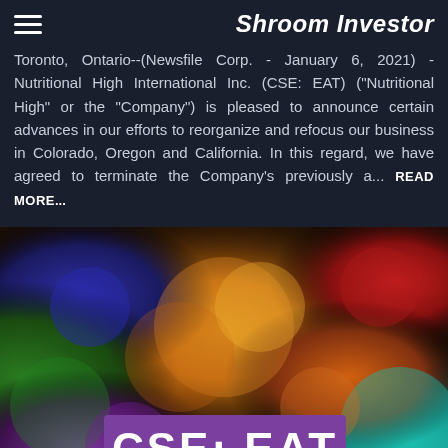Shroom Investor
Toronto, Ontario--(Newsfile Corp. - January 6, 2021) - Nutritional High International Inc. (CSE: EAT) ("Nutritional High" or the "Company") is pleased to announce certain advances in our efforts to reorganize and refocus our business in Colorado, Oregon and California. In this regard, we have agreed to terminate the Company's previously a... READ MORE...
[Figure (photo): Colorful abstract powder explosion image in orange, purple, blue, green and teal tones with a purple banner overlay showing 'CSE: EAT' ticker symbol in large white bold text]